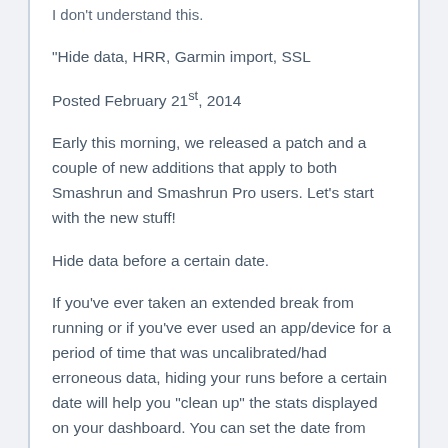I don't understand this.
“Hide data, HRR, Garmin import, SSL
Posted February 21st, 2014
Early this morning, we released a patch and a couple of new additions that apply to both Smashrun and Smashrun Pro users. Let’s start with the new stuff!
Hide data before a certain date.
If you've ever taken an extended break from running or if you've ever used an app/device for a period of time that was uncalibrated/had erroneous data, hiding your runs before a certain date will help you “clean up” the stats displayed on your dashboard. You can set the date from your settings > profile page.